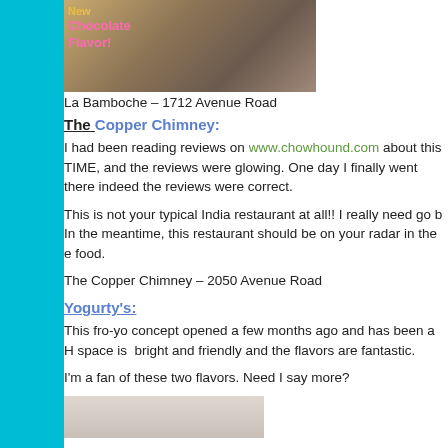[Figure (photo): Photo of a sign or chalkboard reading 'New Chocolate Flavor' in yellow and pink lettering, with a brown/amber drink or object on the right side]
La Bamboche – 1712 Avenue Road
The Copper Chimney:
I had been reading reviews on www.chowhound.com about this TIME, and the reviews were glowing. One day I finally went there indeed the reviews were correct.
This is not your typical India restaurant at all!! I really need go b In the meantime, this restaurant should be on your radar in the e food.
The Copper Chimney – 2050 Avenue Road
Yogurty's:
This fro-yo concept opened a few months ago and has been a H space is  bright and friendly and the flavors are fantastic.
I'm a fan of these two flavors. Need I say more?
[Figure (photo): Partial photo of what appears to be a light-colored surface or item, bottom of page]